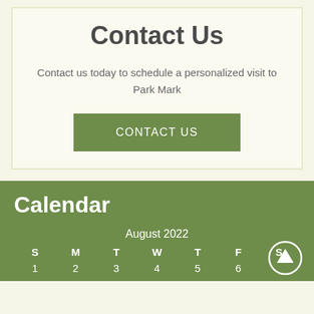Contact Us
Contact us today to schedule a personalized visit to Park Mark
CONTACT US
Calendar
August 2022
| S | M | T | W | T | F | S |
| --- | --- | --- | --- | --- | --- | --- |
| 1 | 2 | 3 | 4 | 5 | 6 |  |